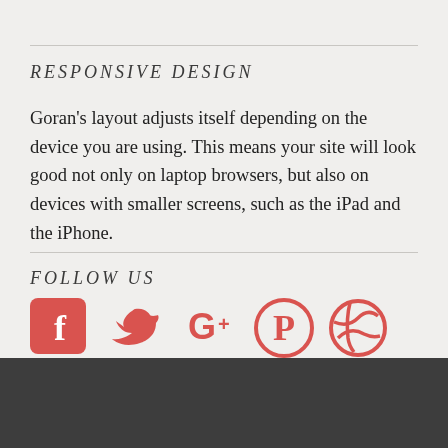RESPONSIVE DESIGN
Goran's layout adjusts itself depending on the device you are using. This means your site will look good not only on laptop browsers, but also on devices with smaller screens, such as the iPad and the iPhone.
FOLLOW US
[Figure (infographic): Row of five social media icons in red/coral color: Facebook, Twitter, Google+, Pinterest, Dribbble]
HOME  ABOUT  CONTACT  BLOG